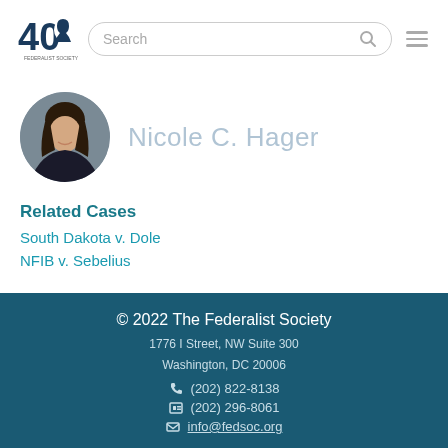[Figure (logo): Federalist Society 40th anniversary logo with silhouette head]
Search
Nicole C. Hager
Related Cases
South Dakota v. Dole
NFIB v. Sebelius
© 2022 The Federalist Society
1776 I Street, NW Suite 300
Washington, DC 20006
(202) 822-8138
(202) 296-8061
info@fedsoc.org